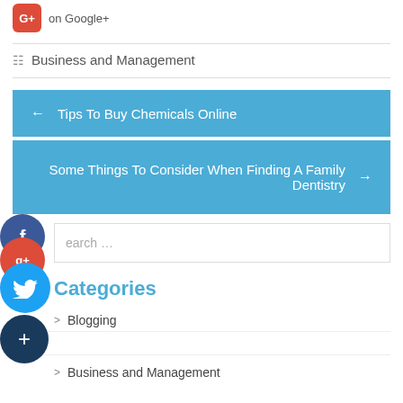on Google+
Business and Management
← Tips To Buy Chemicals Online
Some Things To Consider When Finding A Family Dentistry →
earch ...
Categories
Blogging
Business and Management